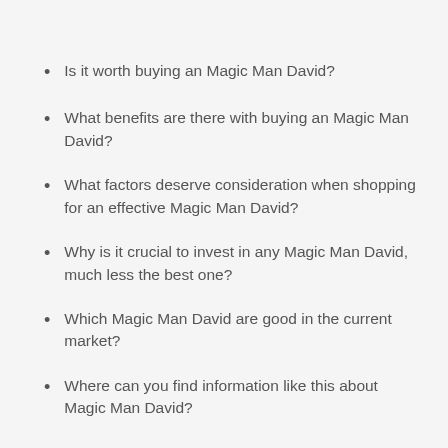Is it worth buying an Magic Man David?
What benefits are there with buying an Magic Man David?
What factors deserve consideration when shopping for an effective Magic Man David?
Why is it crucial to invest in any Magic Man David, much less the best one?
Which Magic Man David are good in the current market?
Where can you find information like this about Magic Man David?